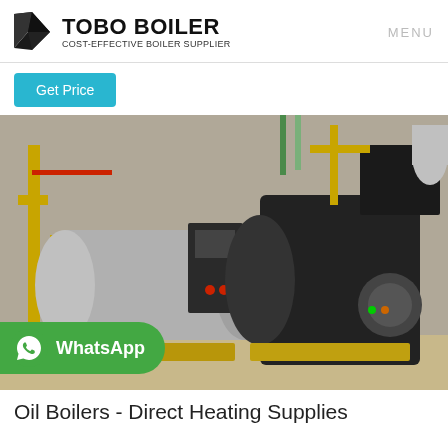[Figure (logo): Tobo Boiler logo with angular black kite/arrow shape icon and text 'TOBO BOILER' with subtitle 'COST-EFFECTIVE BOILER SUPPLIER']
MENU
Get Price
[Figure (photo): Industrial boiler room showing two large cylindrical steam boilers in black, with yellow and red piping, control panels, and wooden floor pallets. A WhatsApp button overlay is visible at the bottom left.]
Oil Boilers - Direct Heating Supplies